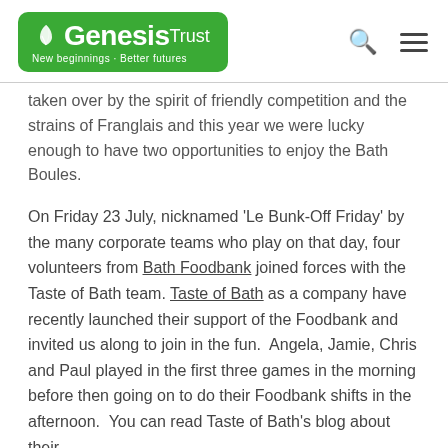[Figure (logo): Genesis Trust logo — green rounded rectangle with white text reading 'Genesis Trust' and tagline 'New beginnings · Better futures', with a leaf graphic]
taken over by the spirit of friendly competition and the strains of Franglais and this year we were lucky enough to have two opportunities to enjoy the Bath Boules.
On Friday 23 July, nicknamed 'Le Bunk-Off Friday' by the many corporate teams who play on that day, four volunteers from Bath Foodbank joined forces with the Taste of Bath team. Taste of Bath as a company have recently launched their support of the Foodbank and invited us along to join in the fun.  Angela, Jamie, Chris and Paul played in the first three games in the morning before then going on to do their Foodbank shifts in the afternoon.  You can read Taste of Bath's blog about their